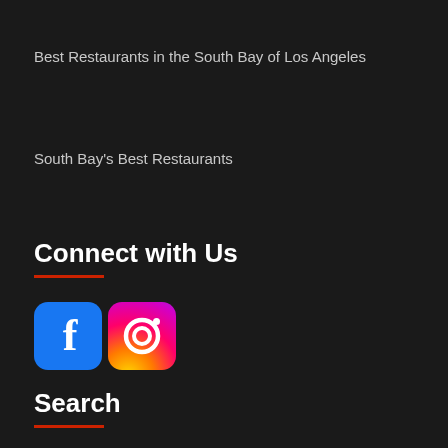Best Restaurants in the South Bay of Los Angeles
South Bay's Best Restaurants
Connect with Us
[Figure (logo): Facebook and Instagram social media icons side by side]
Search